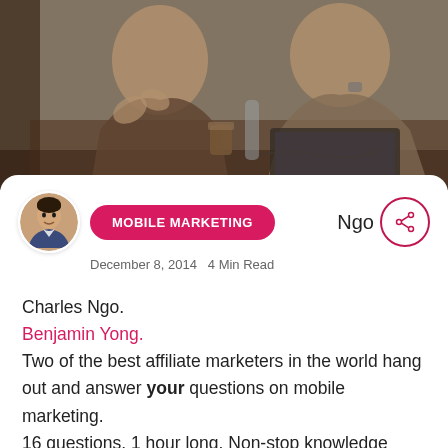[Figure (photo): Sepia-toned photo of two men sitting at a table, one gesturing with hands while the other works on a laptop. A coffee cup and bottles visible on the table.]
MOBILE MARKETING
Ngo
December 8, 2014   4 Min Read
Charles Ngo.
Benjamin Yong.
Two of the best affiliate marketers in the world hang out and answer your questions on mobile marketing.
16 questions. 1 hour long. Non-stop knowledge bombs. We had fun shooting this video and hope you receive tons of value from it. There's not too much mobile marketing